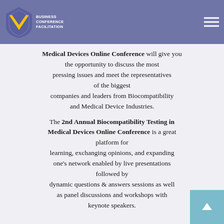Business Conference Facilitation — navigation header
Medical Devices Online Conference will give you the opportunity to discuss the most pressing issues and meet the representatives of the biggest companies and leaders from Biocompatibility and Medical Device Industries.
The 2nd Annual Biocompatibility Testing in Medical Devices Online Conference is a great platform for learning, exchanging opinions, and expanding one's network enabled by live presentations followed by dynamic questions & answers sessions as well as panel discussions and workshops with keynote speakers.
KEY POINTS